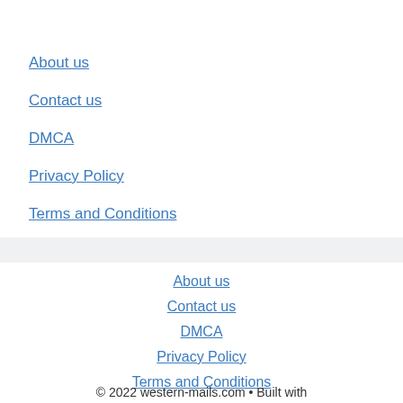About us
Contact us
DMCA
Privacy Policy
Terms and Conditions
About us
Contact us
DMCA
Privacy Policy
Terms and Conditions
© 2022 western-mails.com • Built with